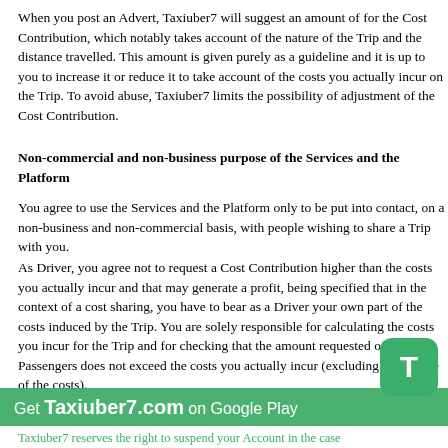When you post an Advert, Taxiuber7 will suggest an amount of for the Cost Contribution, which notably takes account of the nature of the Trip and the distance travelled. This amount is given purely as a guideline and it is up to you to increase it or reduce it to take account of the costs you actually incur on the Trip. To avoid abuse, Taxiuber7 limits the possibility of adjustment of the Cost Contribution.
Non-commercial and non-business purpose of the Services and the Platform
You agree to use the Services and the Platform only to be put into contact, on a non-business and non-commercial basis, with people wishing to share a Trip with you.
As Driver, you agree not to request a Cost Contribution higher than the costs you actually incur and that may generate a profit, being specified that in the context of a cost sharing, you have to bear as a Driver your own part of the costs induced by the Trip. You are solely responsible for calculating the costs you incur for the Trip and for checking that the amount requested of your Passengers does not exceed the costs you actually incur (excluding your share of the costs).
Taxiuber7 reserves the right to suspend your Account in the case